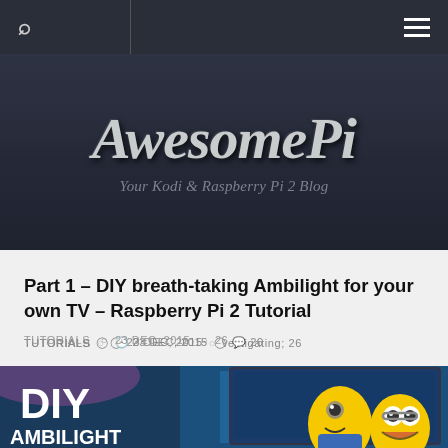AwesomePi — Your Kodi & Raspberry Pi 2 Blog
Part 1 – DIY breath-taking Ambilight for your own TV – Raspberry Pi 2 Tutorial
TUTORIALS  23 DEC, 2015  26
[Figure (photo): DIY Ambilight promotional image with Minions characters in front of a TV with blue ambient lighting, bold white text reading 'DIY AMBILIGHT']